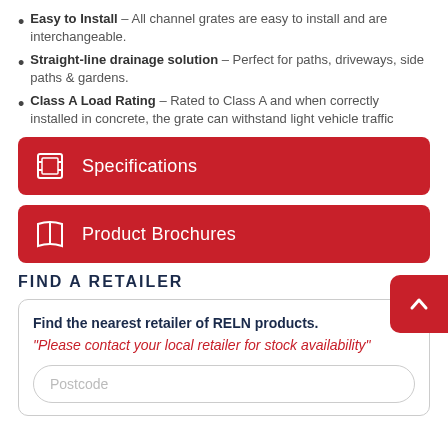Easy to Install – All channel grates are easy to install and are interchangeable.
Straight-line drainage solution – Perfect for paths, driveways, side paths & gardens.
Class A Load Rating – Rated to Class A and when correctly installed in concrete, the grate can withstand light vehicle traffic
Specifications
Product Brochures
FIND A RETAILER
Find the nearest retailer of RELN products. "Please contact your local retailer for stock availability"
Postcode